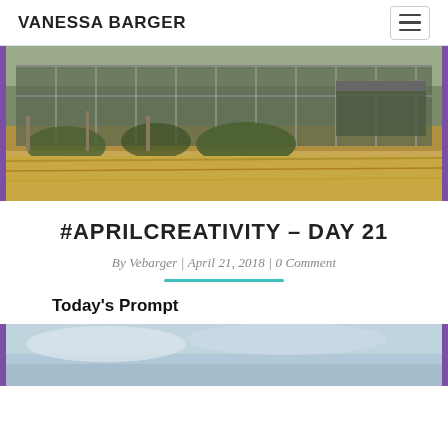VANESSA BARGER
[Figure (photo): Abandoned greenhouse structure with broken glass panels and overgrown dry grass in foreground, purple border on left and right sides]
#APRILCREATIVITY – DAY 21
By Vebarger | April 21, 2018 | 0 Comment
Today's Prompt
[Figure (photo): Partially visible photo with purple left and right borders, showing sky with clouds at top]